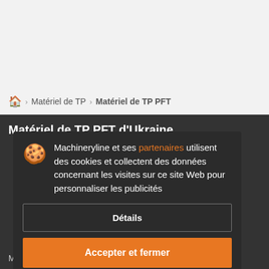🏠 › Matériel de TP › Matériel de TP PFT
Matériel de TP PFT d'Ukraine
Machineryline et ses partenaires utilisent des cookies et collectent des données concernant les visites sur ce site Web pour personnaliser les publicités
Détails
Accepter et fermer
Matériel de TP PFT d'Ukraine: 7 annonces